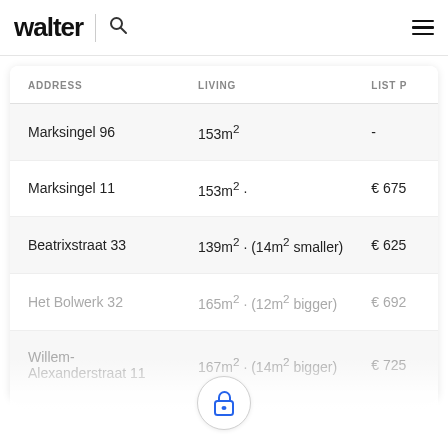walter
| ADDRESS | LIVING | LIST P... |
| --- | --- | --- |
| Marksingel 96 | 153m² | - |
| Marksingel 11 | 153m² · | € 675... |
| Beatrixstraat 33 | 139m² · (14m² smaller) | € 625... |
| Het Bolwerk 32 | 165m² · (12m² bigger) | € 692... |
| Willem-Alexanderstraat 11 | 167m² · (14m² bigger) | € 725... |
[Figure (illustration): Lock icon inside a circle, indicating locked/premium content]